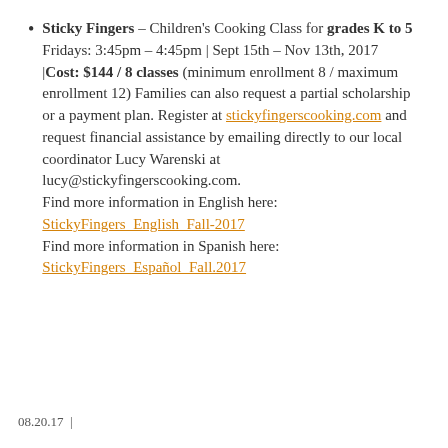Sticky Fingers – Children's Cooking Class for grades K to 5
Fridays: 3:45pm – 4:45pm | Sept 15th – Nov 13th, 2017
|Cost: $144 / 8 classes (minimum enrollment 8 / maximum enrollment 12) Families can also request a partial scholarship or a payment plan. Register at stickyfingerscooking.com and request financial assistance by emailing directly to our local coordinator Lucy Warenski at lucy@stickyfingerscooking.com.
Find more information in English here:
StickyFingers_English_Fall-2017
Find more information in Spanish here:
StickyFingers_Español_Fall.2017
08.20.17  |